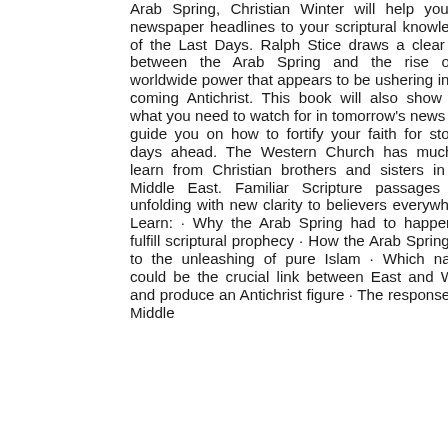Arab Spring, Christian Winter will help you tie newspaper headlines to your scriptural knowledge of the Last Days. Ralph Stice draws a clear link between the Arab Spring and the rise of a worldwide power that appears to be ushering in the coming Antichrist. This book will also show you what you need to watch for in tomorrow's news and guide you on how to fortify your faith for stormy days ahead. The Western Church has much to learn from Christian brothers and sisters in the Middle East. Familiar Scripture passages are unfolding with new clarity to believers everywhere. Learn: · Why the Arab Spring had to happen to fulfill scriptural prophecy · How the Arab Spring led to the unleashing of pure Islam · Which nation could be the crucial link between East and West and produce an Antichrist figure · The responses of Middle